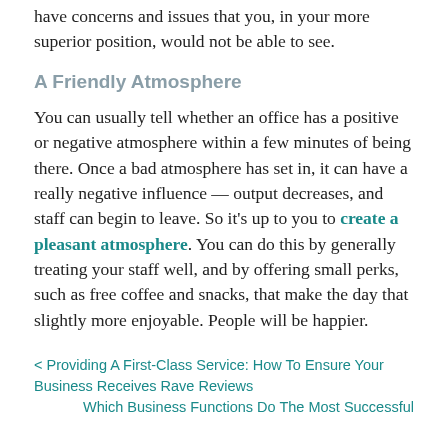help you to run your business better. Your staff will have concerns and issues that you, in your more superior position, would not be able to see.
A Friendly Atmosphere
You can usually tell whether an office has a positive or negative atmosphere within a few minutes of being there. Once a bad atmosphere has set in, it can have a really negative influence — output decreases, and staff can begin to leave. So it's up to you to create a pleasant atmosphere. You can do this by generally treating your staff well, and by offering small perks, such as free coffee and snacks, that make the day that slightly more enjoyable. People will be happier.
< Providing A First-Class Service: How To Ensure Your Business Receives Rave Reviews
Which Business Functions Do The Most Successful